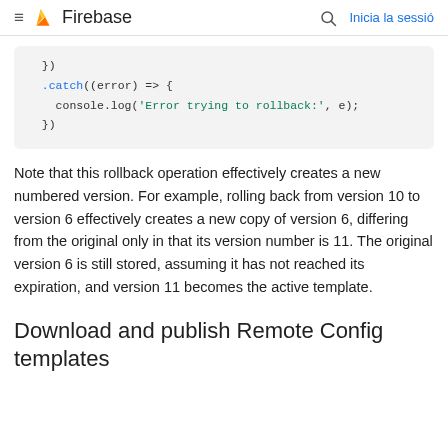≡ 🔥 Firebase  🔍  Inicia la sessió
[Figure (screenshot): Code block showing JavaScript .catch((error) => { console.log('Error trying to rollback:', e); }) snippet on a light grey background]
Note that this rollback operation effectively creates a new numbered version. For example, rolling back from version 10 to version 6 effectively creates a new copy of version 6, differing from the original only in that its version number is 11. The original version 6 is still stored, assuming it has not reached its expiration, and version 11 becomes the active template.
Download and publish Remote Config templates